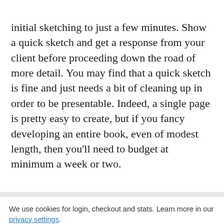initial sketching to just a few minutes. Show a quick sketch and get a response from your client before proceeding down the road of more detail. You may find that a quick sketch is fine and just needs a bit of cleaning up in order to be presentable. Indeed, a single page is pretty easy to create, but if you fancy developing an entire book, even of modest length, then you'll need to budget at minimum a week or two.
We use cookies for login, checkout and stats. Learn more in our privacy settings.